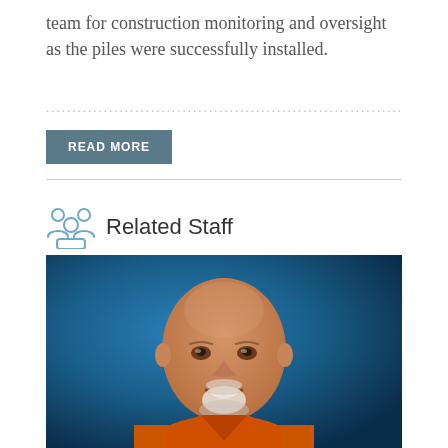team for construction monitoring and oversight as the piles were successfully installed.
(faded/partial line of text)
READ MORE
Related Staff
[Figure (photo): Headshot of a bald smiling man with a white goatee wearing an orange shirt against a blue background]